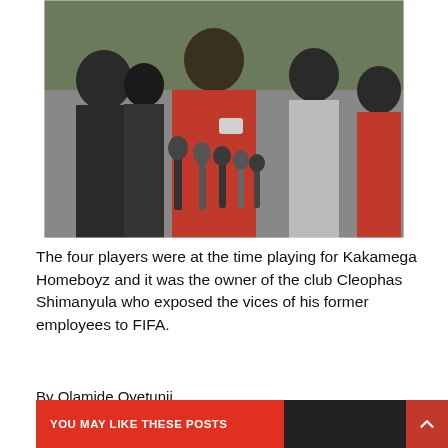[Figure (photo): Group of men at a press conference with microphones. A man in a red checkered shirt appears to be speaking or presenting something. Others stand around him including men in suits and a man in a red hoodie.]
The four players were at the time playing for Kakamega Homeboyz and it was the owner of the club Cleophas Shimanyula who exposed the vices of his former employees to FIFA.
By Olamide Oyetunji
Tags: Africa FIFA News